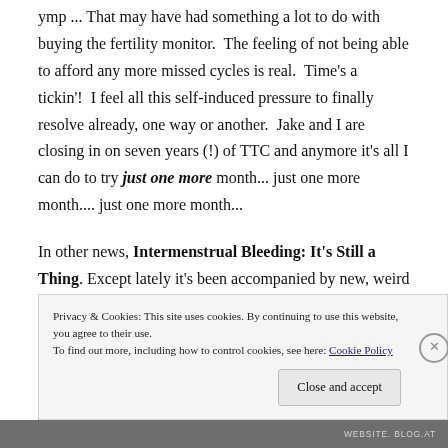ymp ... That may have had something a lot to do with buying the fertility monitor.  The feeling of not being able to afford any more missed cycles is real.  Time's a tickin'!  I feel all this self-induced pressure to finally resolve already, one way or another.  Jake and I are closing in on seven years (!) of TTC and anymore it's all I can do to try just one more month... just one more month.... just one more month...
In other news, Intermenstrual Bleeding: It's Still a Thing.  Except lately it's been accompanied by new, weird pains in my lower uterus.  The best way to describe the pain is like someone inserts a needle into my skin sideways and then
Privacy & Cookies: This site uses cookies. By continuing to use this website, you agree to their use.
To find out more, including how to control cookies, see here: Cookie Policy
WEBSITE. BLOG.AT